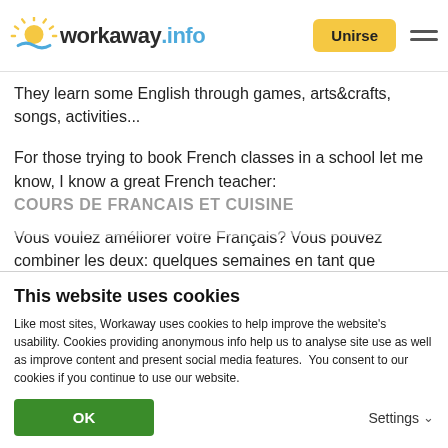workaway.info — Unirse
They learn some English through games, arts&crafts, songs, activities...
For those trying to book French classes in a school let me know, I know a great French teacher:
COURS DE FRANCAIS ET CUISINE
Vous voulez améliorer votre Français? Vous pouvez combiner les deux: quelques semaines en tant que
This website uses cookies
Like most sites, Workaway uses cookies to help improve the website's usability. Cookies providing anonymous info help us to analyse site use as well as improve content and present social media features.  You consent to our cookies if you continue to use our website.
OK   Settings